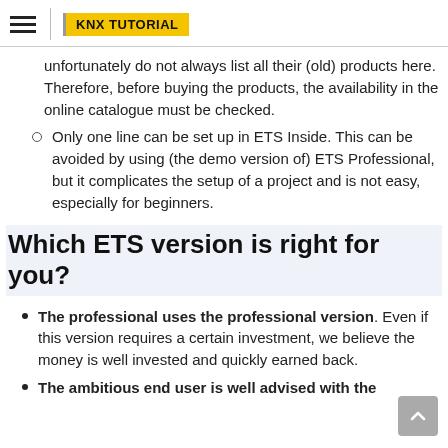KNX TUTORIAL
unfortunately do not always list all their (old) products here. Therefore, before buying the products, the availability in the online catalogue must be checked.
Only one line can be set up in ETS Inside. This can be avoided by using (the demo version of) ETS Professional, but it complicates the setup of a project and is not easy, especially for beginners.
Which ETS version is right for you?
The professional uses the professional version. Even if this version requires a certain investment, we believe the money is well invested and quickly earned back.
The ambitious end user is well advised with the